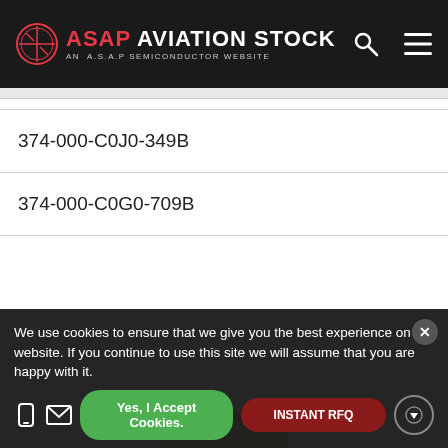ASAP AVIATION STOCK - AN A.S.A.P SEMICONDUCTOR WEBSITE
374-000-C0J0-349B
374-000-C0G0-709B
[Figure (illustration): Folder icon partially visible at bottom of content area]
We use cookies to ensure that we give you the best experience on our website. If you continue to use this site we will assume that you are happy with it.
Yes, I Accept Cookies.